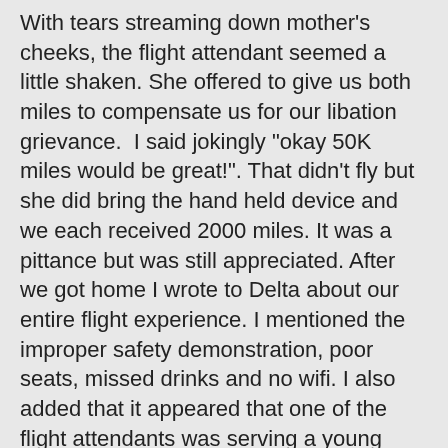With tears streaming down mother's cheeks, the flight attendant seemed a little shaken. She offered to give us both miles to compensate us for our libation grievance.  I said jokingly "okay 50K miles would be great!". That didn't fly but she did bring the hand held device and we each received 2000 miles. It was a pittance but was still appreciated. After we got home I wrote to Delta about our entire flight experience. I mentioned the improper safety demonstration, poor seats, missed drinks and no wifi. I also added that it appeared that one of the flight attendants was serving a young couple too much alcohol.  I received an apology and an additional 7,500 miles.
We landed in "Hotlanta" and after deplaning waited a couple of minutes to speak with the gate agent. Naturally, he immediately told us to to go Airtran. We looked at the monitor and our flight had not departed yet so perhaps we could still make it! Of course we would have to sacrifice our checked luggage and figure out how to get it home later. I did not look at the gate location on the monitor. I used what it said on the boarding pass. Unfortunately I realized too late that the gate number had changed and we needed to go to a different gate in the opposite direction. When we arrived, they had